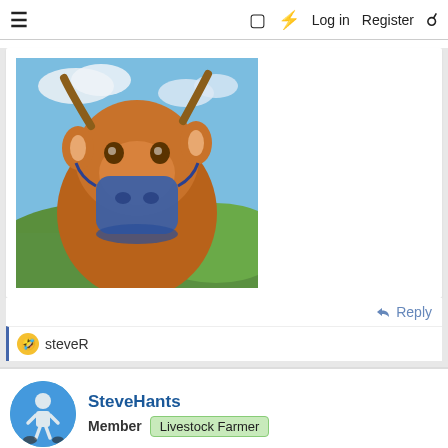≡   Log in   Register
[Figure (photo): A brown cow wearing a blue muzzle/mask, photographed outdoors against a blue sky with clouds and green hills in the background.]
Reply
steveR
SteveHants
Member  Livestock Farmer
May 25, 2022  #38
tonground said: